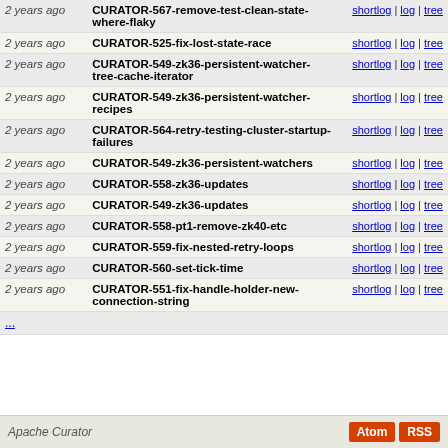| Age | Branch | Links |
| --- | --- | --- |
| 2 years ago | CURATOR-567-remove-test-clean-state-where-flaky | shortlog | log | tree |
| 2 years ago | CURATOR-525-fix-lost-state-race | shortlog | log | tree |
| 2 years ago | CURATOR-549-zk36-persistent-watcher-tree-cache-iterator | shortlog | log | tree |
| 2 years ago | CURATOR-549-zk36-persistent-watcher-recipes | shortlog | log | tree |
| 2 years ago | CURATOR-564-retry-testing-cluster-startup-failures | shortlog | log | tree |
| 2 years ago | CURATOR-549-zk36-persistent-watchers | shortlog | log | tree |
| 2 years ago | CURATOR-558-zk36-updates | shortlog | log | tree |
| 2 years ago | CURATOR-549-zk36-updates | shortlog | log | tree |
| 2 years ago | CURATOR-558-pt1-remove-zk40-etc | shortlog | log | tree |
| 2 years ago | CURATOR-559-fix-nested-retry-loops | shortlog | log | tree |
| 2 years ago | CURATOR-560-set-tick-time | shortlog | log | tree |
| 2 years ago | CURATOR-551-fix-handle-holder-new-connection-string | shortlog | log | tree |
...
Apache Curator  Atom RSS